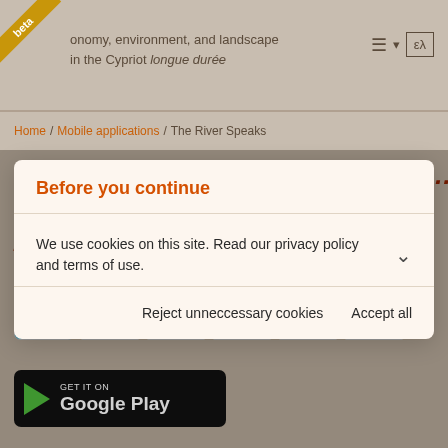beta | Economy, environment, and landscape in the Cypriot longue durée | ελ
Home / Mobile applications / The River Speaks
Before you continue
We use cookies on this site. Read our privacy policy and terms of use.
Reject unneccessary cookies   Accept all
[Figure (screenshot): Google Play badge with play icon and text 'GET IT ON Google Play' on black rounded rectangle background]
The mobile application can be used along the linear park which starts in the centre of Nicosia and runs parallel to the